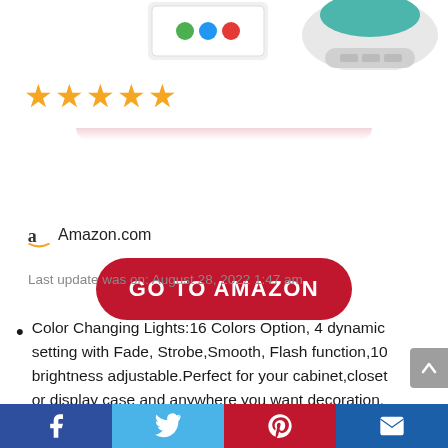[Figure (photo): Product images at top: remote control with colored buttons on left, and a round white LED lamp device on right, partially cropped]
[Figure (other): Five orange star rating icons]
[Figure (other): Red rounded rectangle button with white bold text reading GO TO AMAZON]
Amazon.com
Last update was on: August 28, 2022 1:47 am
Color Changing Lights:16 Colors Option, 4 dynamic setting with Fade, Strobe,Smooth, Flash function,10 brightness adjustable.Perfect for your cabinet,closet or display case and anywhere you want decoration.
[Figure (other): Social sharing bar at bottom with Facebook, Twitter, Pinterest, and email icons]